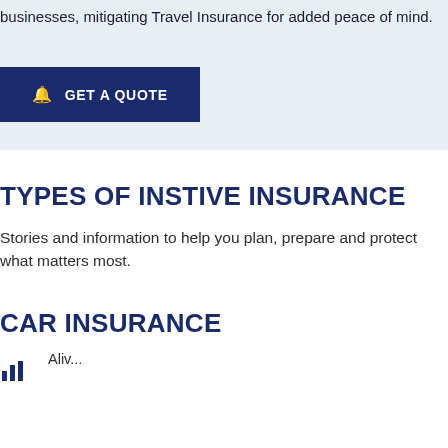businesses, mitigating Travel Insurance for added peace of mind.
[Figure (other): Dark navy blue button with bell icon labeled GET A QUOTE]
TYPES OF INSTIVE INSURANCE
Stories and information to help you plan, prepare and protect what matters most.
CAR INSURANCE
Aliv... [partial text cut off at bottom]